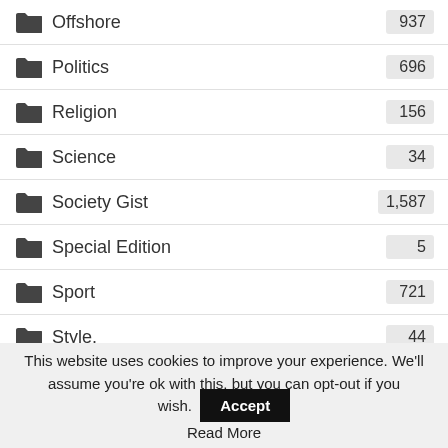Offshore 937
Politics 696
Religion 156
Science 34
Society Gist 1,587
Special Edition 5
Sport 721
Style. 44
Tech 71
The Royals 352
This website uses cookies to improve your experience. We'll assume you're ok with this, but you can opt-out if you wish. Accept Read More